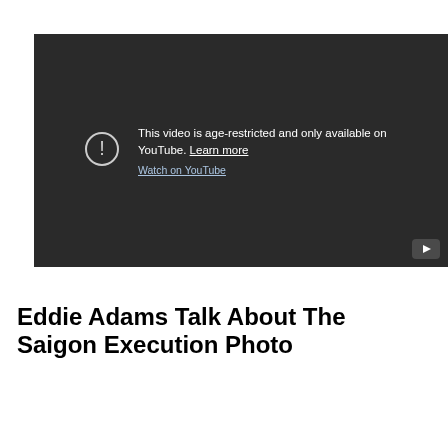[Figure (screenshot): YouTube age-restricted video placeholder with dark background showing an exclamation mark circle icon and text: 'This video is age-restricted and only available on YouTube. Learn more' with 'Watch on YouTube' link, and a YouTube play button in the bottom-right corner.]
Eddie Adams Talk About The Saigon Execution Photo